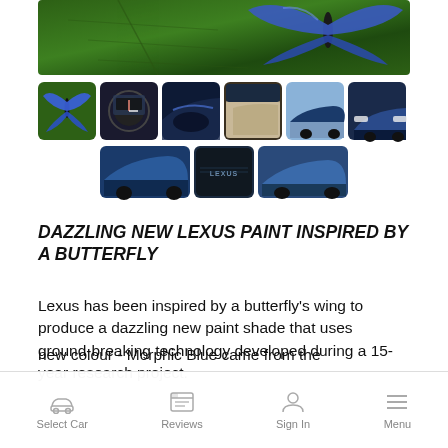[Figure (photo): Main hero image showing a blue Morpho butterfly on a green leaf, top portion of image gallery]
[Figure (photo): Gallery of 9 thumbnail images showing blue butterfly, Lexus dashboard/steering wheel, Lexus interior, Lexus interior seats, Lexus LC exterior blue, Lexus LC front exterior blue, Lexus LC side exterior blue, Lexus Morphic Blue badge, Lexus LC exterior blue side]
DAZZLING NEW LEXUS PAINT INSPIRED BY A BUTTERFLY
Lexus has been inspired by a butterfly's wing to produce a dazzling new paint shade that uses ground-breaking technology developed during a 15-year research project.
new colour - Morphic Blue came from the
Select Car   Reviews   Sign In   Menu